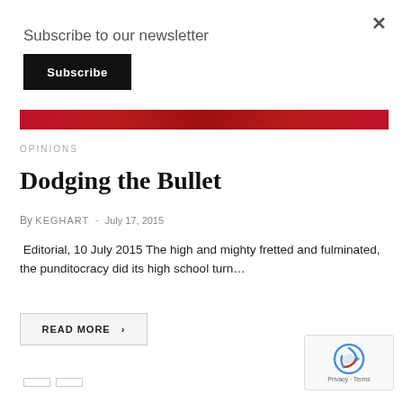Subscribe to our newsletter
Subscribe
[Figure (other): Red gradient banner bar]
OPINIONS
Dodging the Bullet
By KEGHART · July 17, 2015
Editorial, 10 July 2015 The high and mighty fretted and fulminated, the punditocracy did its high school turn…
READ MORE  >
[Figure (other): reCAPTCHA badge with Privacy - Terms]